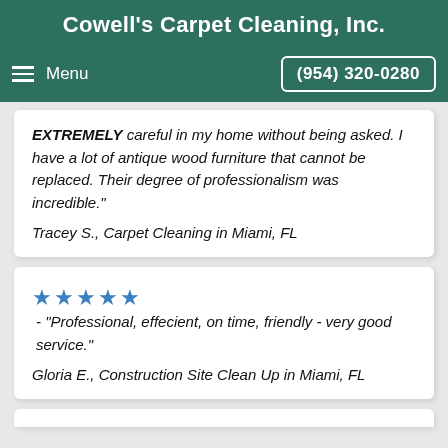Cowell's Carpet Cleaning, Inc.
Menu  (954) 320-0280
EXTREMELY careful in my home without being asked. I have a lot of antique wood furniture that cannot be replaced. Their degree of professionalism was incredible."
Tracey S., Carpet Cleaning in Miami, FL
★★★★★ - "Professional, effecient, on time, friendly - very good service."
Gloria E., Construction Site Clean Up in Miami, FL